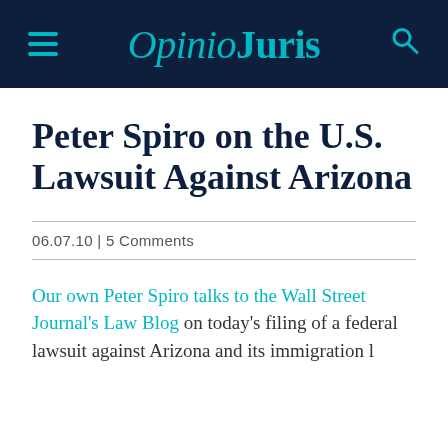OpinioJuris
Peter Spiro on the U.S. Lawsuit Against Arizona
06.07.10 | 5 Comments
Our own Peter Spiro talks to the Wall Street Journal's Law Blog on today's filing of a federal lawsuit against Arizona and its immigration law.